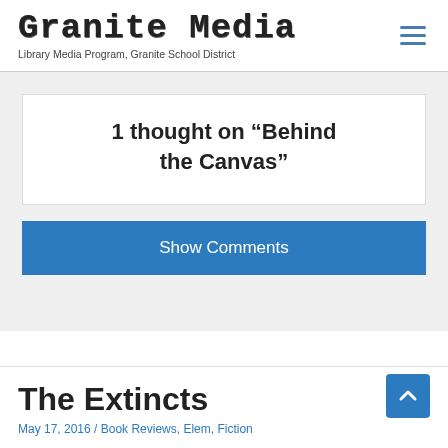Granite Media — Library Media Program, Granite School District
1 thought on “Behind the Canvas”
Show Comments
The Extincts
May 17, 2016 / Book Reviews, Elem, Fiction